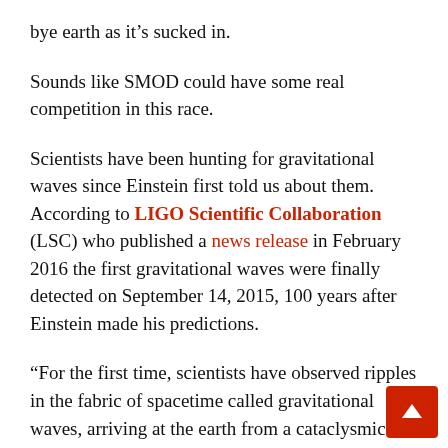bye earth as it's sucked in.
Sounds like SMOD could have some real competition in this race.
Scientists have been hunting for gravitational waves since Einstein first told us about them. According to LIGO Scientific Collaboration (LSC) who published a news release in February 2016 the first gravitational waves were finally detected on September 14, 2015, 100 years after Einstein made his predictions.
“For the first time, scientists have observed ripples in the fabric of spacetime called gravitational waves, arriving at the earth from a cataclysmic event in the distant universe. This confirms a major predicti... Albert Einstein’s 1915 general theory of relativity